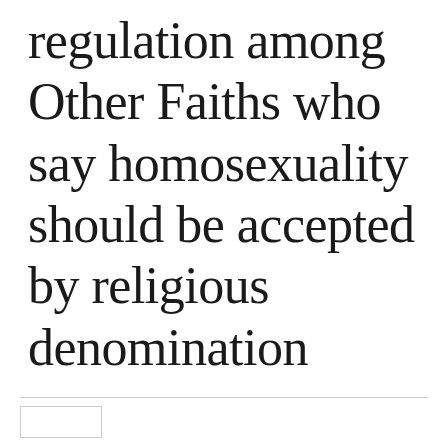regulation among Other Faiths who say homosexuality should be accepted by religious denomination